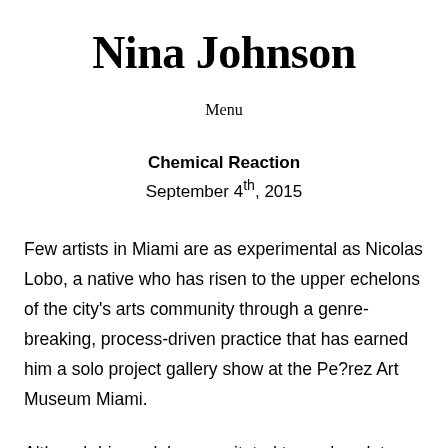Nina Johnson
Menu
Chemical Reaction
September 4th, 2015
Few artists in Miami are as experimental as Nicolas Lobo, a native who has risen to the upper echelons of the city's arts community through a genre-breaking, process-driven practice that has earned him a solo project gallery show at the Pe?rez Art Museum Miami.
Although his work has gravitated toward sculpture, it is